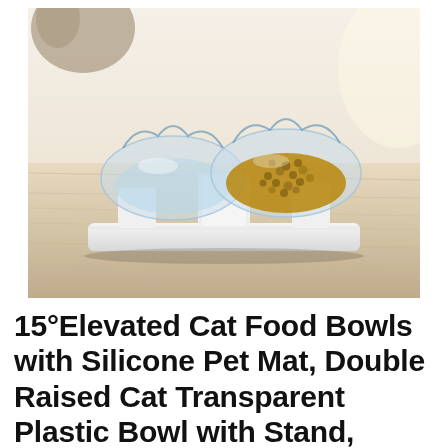[Figure (photo): Two transparent cat-ear-shaped bowls on a white raised stand/mat sitting on a light wood surface. The left bowl contains water, the right bowl contains dry cat food pellets. A cat is partially visible at the top left.]
15°Elevated Cat Food Bowls with Silicone Pet Mat, Double Raised Cat Transparent Plastic Bowl with Stand, Stress-Free